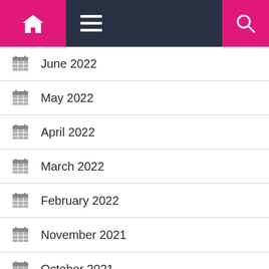Navigation bar with home, menu, and search icons
June 2022
May 2022
April 2022
March 2022
February 2022
November 2021
October 2021
August 2021
June 2021
May 2021